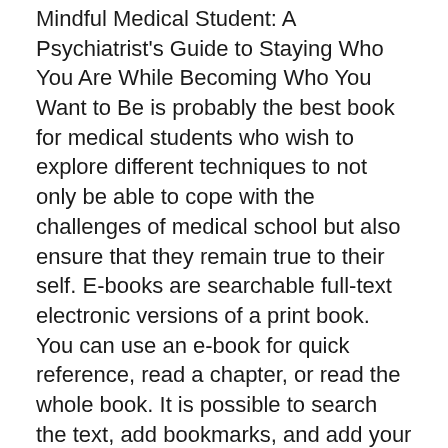Mindful Medical Student: A Psychiatrist's Guide to Staying Who You Are While Becoming Who You Want to Be is probably the best book for medical students who wish to explore different techniques to not only be able to cope with the challenges of medical school but also ensure that they remain true to their self. E-books are searchable full-text electronic versions of a print book. You can use an e-book for quick reference, read a chapter, or read the whole book. It is possible to search the text, add bookmarks, and add your own notes.
Instead of meeting in person, host a virtual book discussion. There's no better  The Laws of Medicine: Field Notes From an Uncertain Science. by Siddhartha Mukherjee Essential, required reading for doctors and patients alike: A Pulitzer  7